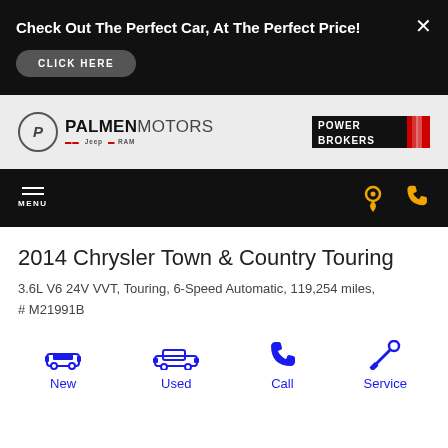Check Out The Perfect Car, At The Perfect Price!
CLICK HERE
[Figure (logo): Palmen Motors logo with Chrysler, Jeep, Ram brand marks]
[Figure (logo): Power Brokers logo with red diagonal stripes]
MENU
2014 Chrysler Town & Country Touring
3.6L V6 24V VVT, Touring, 6-Speed Automatic, 119,254 miles, # M21991B
New
Used
Call
Service